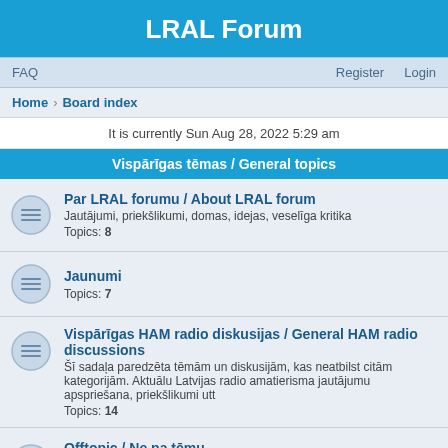LRAL Forum
FAQ   Register   Login
Home · Board index
It is currently Sun Aug 28, 2022 5:29 am
Vispārīgas tēmas / General topics
Par LRAL forumu / About LRAL forum
Jautājumi, priekšlikumi, domas, idejas, veselīga kritika
Topics: 8
Jaunumi
Topics: 7
Vispārīgas HAM radio diskusijas / General HAM radio discussions
Šī sadaļa paredzēta tēmām un diskusijām, kas neatbilst citām kategorijām. Aktuālu Latvijas radio amatierisma jautājumu apspriešana, priekšlikumi utt
Topics: 14
Offtopic / Ne pa tēmu
Ar HAM radio nesaistītas tēmas
Topics: 1
Intereses
Izglītošana / Education